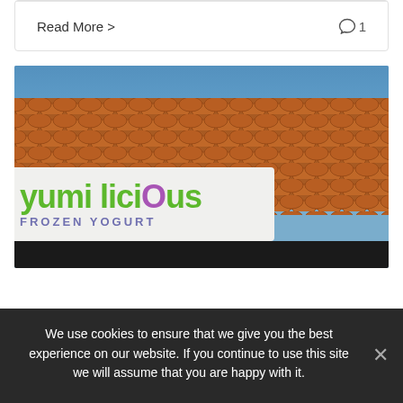Read More >
[Figure (photo): Exterior sign of Yumilicious Frozen Yogurt store with green and purple lettering on a white sign, terracotta tile roof, blue sky background]
We use cookies to ensure that we give you the best experience on our website. If you continue to use this site we will assume that you are happy with it.